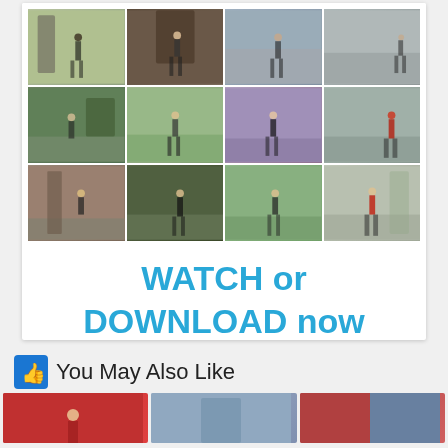[Figure (photo): 3x4 grid of video thumbnails showing a woman walking in various outdoor urban locations (plazas, parks, city streets). Photos are screenshots from a video.]
WATCH or DOWNLOAD now
You May Also Like
[Figure (photo): Thumbnail row of 3 video preview images at the bottom of the page.]